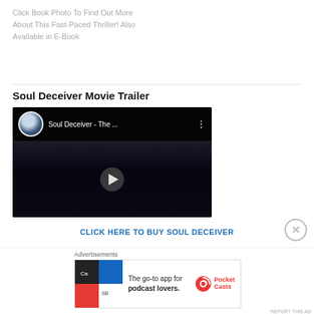Click Book Photo To Find Out More About This Fast-Paced Thriller! Also Available in E-Book
Soul Deceiver Movie Trailer
[Figure (screenshot): Embedded YouTube video thumbnail for 'Soul Deceiver - The ...' showing a dark face with a play button in the center and video top bar with avatar and title]
CLICK HERE TO BUY SOUL DECEIVER
[Figure (other): Pocket Casts advertisement banner: 'The go-to app for podcast lovers.' with Pocket Casts logo]